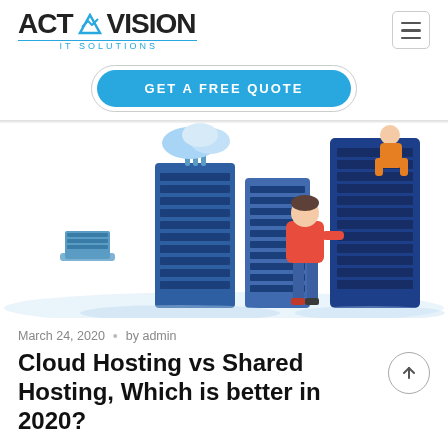ACTOVISION IT SOLUTIONS
GET A FREE QUOTE
[Figure (illustration): Isometric illustration of cloud hosting servers and data centers with a person managing server racks]
March 24, 2020  •  by admin
Cloud Hosting vs Shared Hosting, Which is better in 2020?